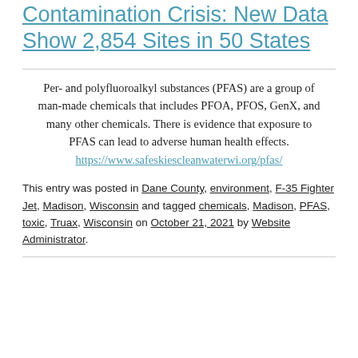Contamination Crisis: New Data Show 2,854 Sites in 50 States
Per- and polyfluoroalkyl substances (PFAS) are a group of man-made chemicals that includes PFOA, PFOS, GenX, and many other chemicals. There is evidence that exposure to PFAS can lead to adverse human health effects. https://www.safeskiescleanwaterwi.org/pfas/
This entry was posted in Dane County, environment, F-35 Fighter Jet, Madison, Wisconsin and tagged chemicals, Madison, PFAS, toxic, Truax, Wisconsin on October 21, 2021 by Website Administrator.